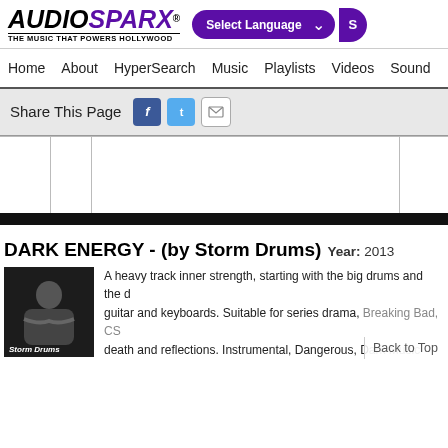AUDIOSPARX - THE MUSIC THAT POWERS HOLLYWOOD | Select Language
Home   About   HyperSearch   Music   Playlists   Videos   Sound
Share This Page
[Figure (screenshot): Audio player with grid columns, blank white content area with dividers]
DARK ENERGY - (by Storm Drums)  Year: 2013
[Figure (photo): Photo of Storm Drums artist - man with arms crossed, dark background, text Storm Drums at bottom]
A heavy track inner strength, starting with the big drums and the d... guitar and keyboards. Suitable for series drama, Breaking Bad, CS... death and reflections. Instrumental, Dangerous, Dark Music